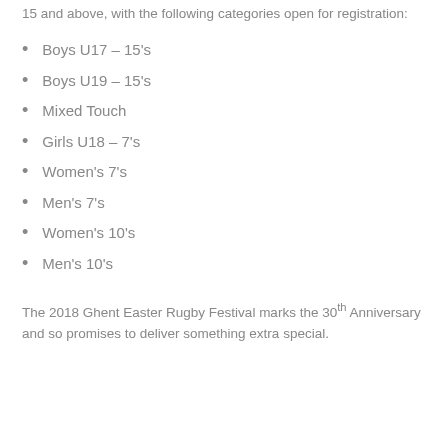15 and above, with the following categories open for registration:
Boys U17 – 15's
Boys U19 – 15's
Mixed Touch
Girls U18 – 7's
Women's 7's
Men's 7's
Women's 10's
Men's 10's
The 2018 Ghent Easter Rugby Festival marks the 30th Anniversary and so promises to deliver something extra special.